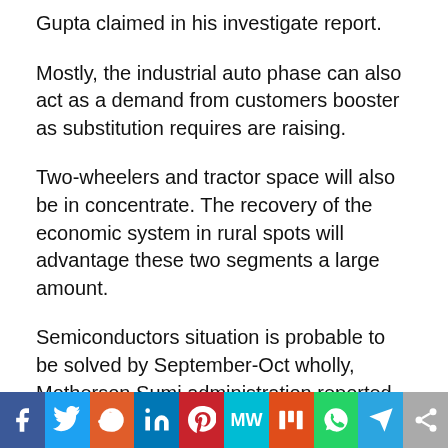Gupta claimed in his investigate report.
Mostly, the industrial auto phase can also act as a demand from customers booster as substitution requires are raising.
Two-wheelers and tractor space will also be in concentrate. The recovery of the economic system in rural spots will advantage these two segments a large amount.
Semiconductors situation is probable to be solved by September-Oct wholly, Motherson Sumi administration reported.
After 3 12 months of some restricted corners, much better days are currently being observed in India's automotive marketplace, and have been in concentration from the
[Figure (other): Social media sharing bar with icons: Facebook, Twitter, Reddit, LinkedIn, Pinterest, MeWe, Mix, WhatsApp, Telegram, Share]